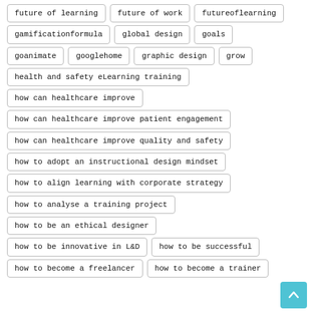future of learning
future of work
futureoflearning
gamificationformula
global design
goals
goanimate
googlehome
graphic design
grow
health and safety eLearning training
how can healthcare improve
how can healthcare improve patient engagement
how can healthcare improve quality and safety
how to adopt an instructional design mindset
how to align learning with corporate strategy
how to analyse a training project
how to be an ethical designer
how to be innovative in L&D
how to be successful
how to become a freelancer
how to become a trainer